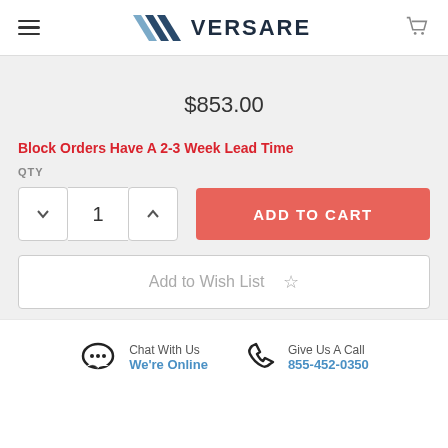VERSARE
$853.00
Block Orders Have A 2-3 Week Lead Time
QTY
ADD TO CART
Add to Wish List
Chat With Us We're Online
Give Us A Call 855-452-0350